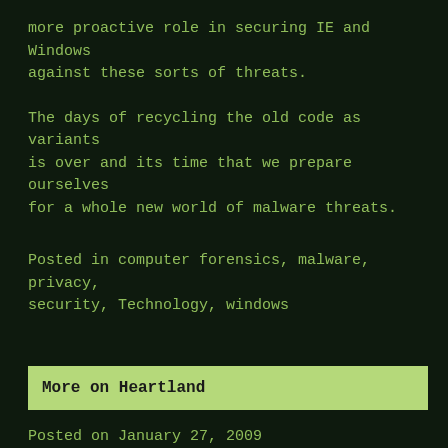more proactive role in securing IE and Windows against these sorts of threats.
The days of recycling the old code as variants is over and its time that we prepare ourselves for a whole new world of malware threats.
Posted in computer forensics, malware, privacy, security, Technology, windows
More on Heartland
Posted on January 27, 2009
Dark Reading posted an article entitle “Report: Law Enforcement Closing In On Heartland Breach